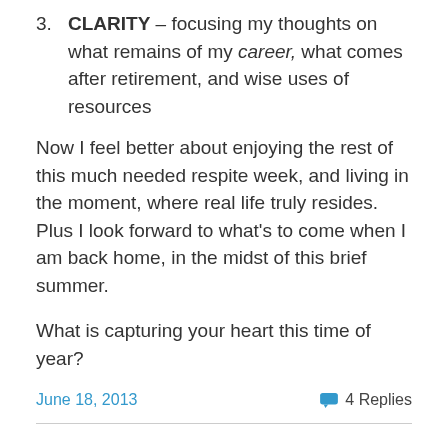3. CLARITY – focusing my thoughts on what remains of my career, what comes after retirement, and wise uses of resources
Now I feel better about enjoying the rest of this much needed respite week, and living in the moment, where real life truly resides. Plus I look forward to what's to come when I am back home, in the midst of this brief summer.
What is capturing your heart this time of year?
June 18, 2013   4 Replies
a mixed bag at the grocery store